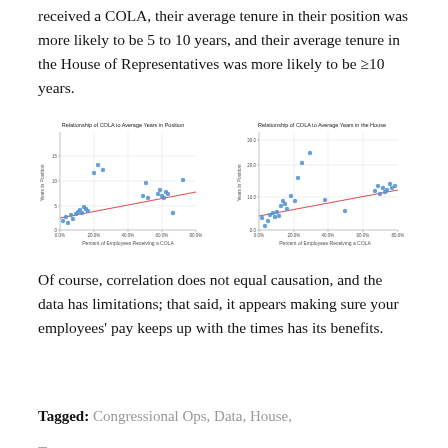received a COLA, their average tenure in their position was more likely to be 5 to 10 years, and their average tenure in the House of Representatives was more likely to be ≥10 years.
[Figure (scatter-plot): Scatter plot showing positive relationship between percent of employees receiving a COLA and average years in position, with a red trend line.]
[Figure (scatter-plot): Scatter plot showing positive relationship between percent of employees receiving a COLA and average years in the House, with a red trend line.]
Of course, correlation does not equal causation, and the data has limitations; that said, it appears making sure your employees' pay keeps up with the times has its benefits.
Tagged: Congressional Ops, Data, House, Transparency